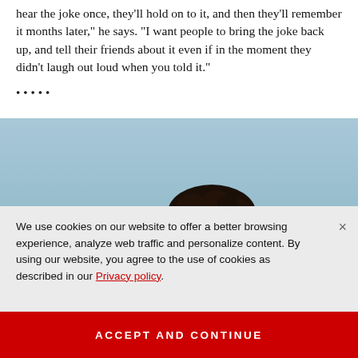hear the joke once, they'll hold on to it, and then they'll remember it months later," he says. "I want people to bring the joke back up, and tell their friends about it even if in the moment they didn't laugh out loud when you told it."
•••••
[Figure (photo): Partial photo of a person with dark curly hair against a light blue-grey background, cropped to show only the top of the head.]
We use cookies on our website to offer a better browsing experience, analyze web traffic and personalize content. By using our website, you agree to the use of cookies as described in our Privacy policy.
ACCEPT AND CONTINUE